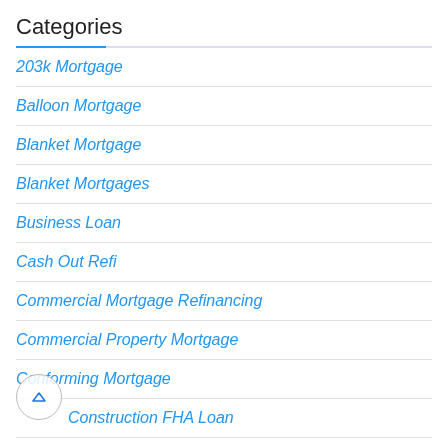Categories
203k Mortgage
Balloon Mortgage
Blanket Mortgage
Blanket Mortgages
Business Loan
Cash Out Refi
Commercial Mortgage Refinancing
Commercial Property Mortgage
Conforming Mortgage
Construction FHA Loan